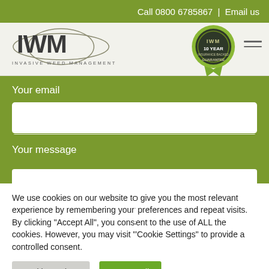Call 0800 6785867 | Email us
[Figure (logo): IWM Invasive Weed Management logo with stylized arcs and text]
[Figure (illustration): IWM 10 Year Insurance Backed Guarantee rosette/badge]
Your email
Your message
We use cookies on our website to give you the most relevant experience by remembering your preferences and repeat visits. By clicking "Accept All", you consent to the use of ALL the cookies. However, you may visit "Cookie Settings" to provide a controlled consent.
Cookie Settings
Accept All